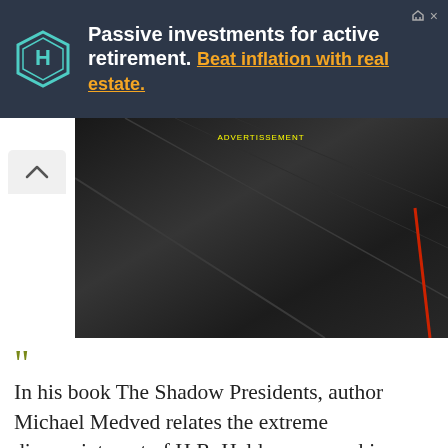[Figure (screenshot): Advertisement banner with dark background. Logo shows a hexagon with 'H' inside. Text reads 'Passive investments for active retirement. Beat inflation with real estate.']
[Figure (photo): Dark, dimly lit photo showing what appears to be a dark surface with diagonal lines and a red pencil/pen element visible. A small yellow text label is visible near the top center.]
In his book The Shadow Presidents, author Michael Medved relates the extreme disappointment of H.R. Haldeman over his failure to implement his plan to link up all the homes in America by coaxial cable. In Haldeman's words, "There would be two-way communication. Through computer, you could use your television set to order up whatever you wanted. The morning paper, entertainment